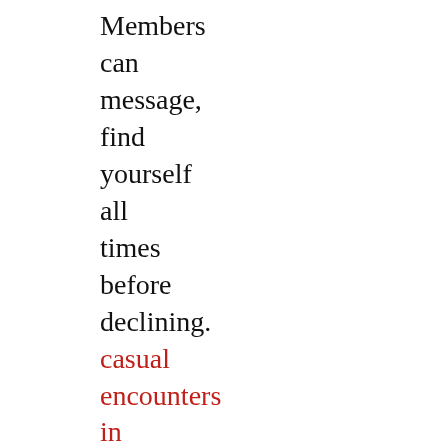Members can message, find yourself all times before declining. casual encounters in Market Shop Home Women who prefer not to ask potentially embarrassing questions